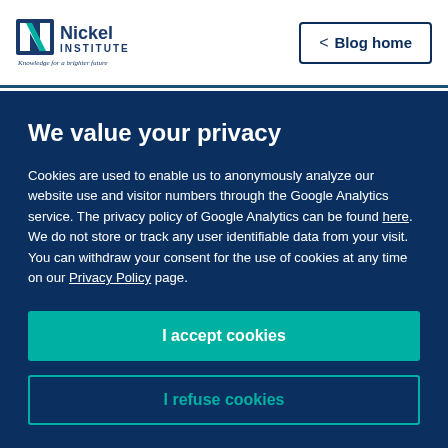Nickel Institute — Knowledge for a brighter future | Blog home
We value your privacy
Cookies are used to enable us to anonymously analyze our website use and visitor numbers through the Google Analytics service. The privacy policy of Google Analytics can be found here. We do not store or track any user identifiable data from your visit. You can withdraw your consent for the use of cookies at any time on our Privacy Policy page.
I accept cookies
I refuse cookies